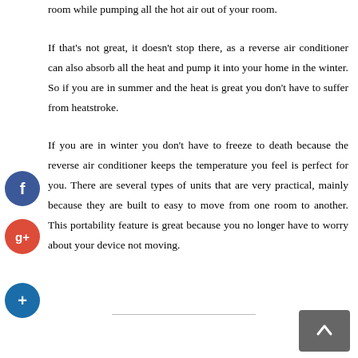room while pumping all the hot air out of your room.
If that's not great, it doesn't stop there, as a reverse air conditioner can also absorb all the heat and pump it into your home in the winter. So if you are in summer and the heat is great you don't have to suffer from heatstroke.
If you are in winter you don't have to freeze to death because the reverse air conditioner keeps the temperature you feel is perfect for you. There are several types of units that are very practical, mainly because they are built to easy to move from one room to another. This portability feature is great because you no longer have to worry about your device not moving.
[Figure (other): Facebook social share button (blue circle with f)]
[Figure (other): Google+ social share button (red circle with g+)]
[Figure (other): Add/follow button (dark blue circle with +)]
[Figure (other): Back to top button (grey rounded rectangle with up arrow)]